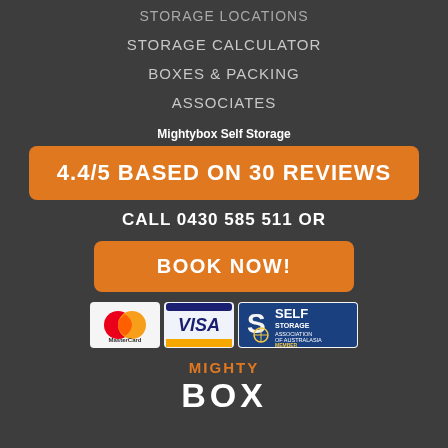STORAGE LOCATIONS
STORAGE CALCULATOR
BOXES & PACKING
ASSOCIATES
Mightybox Self Storage
4.4/5 BASED ON 30 REVIEWS
CALL 0430 585 511 OR
BOOK NOW!
[Figure (logo): Payment logos: MasterCard, VISA, Self Storage Association of Australasia Member]
[Figure (logo): MightyBox logo with orange MIGHTY text and white BOX text with keyhole icon]